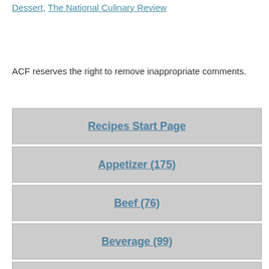Dessert, The National Culinary Review
ACF reserves the right to remove inappropriate comments.
Recipes Start Page
Appetizer (175)
Beef (76)
Beverage (99)
Bread/Pastry (69)
Breakfast (79)
Browse (126)